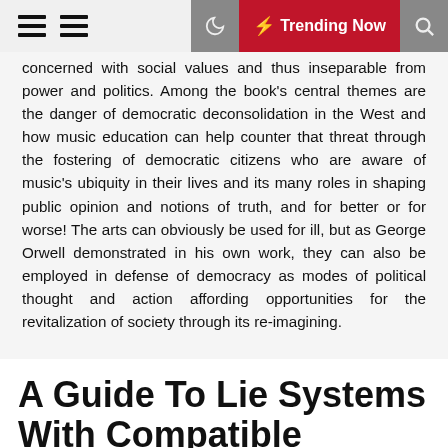Trending Now
concerned with social values and thus inseparable from power and politics. Among the book's central themes are the danger of democratic deconsolidation in the West and how music education can help counter that threat through the fostering of democratic citizens who are aware of music's ubiquity in their lives and its many roles in shaping public opinion and notions of truth, and for better or for worse! The arts can obviously be used for ill, but as George Orwell demonstrated in his own work, they can also be employed in defense of democracy as modes of political thought and action affording opportunities for the revitalization of society through its re-imagining.
A Guide To Lie Systems With Compatible Geometric Structures
Author: Javier De Lucas Araujo,Cristina